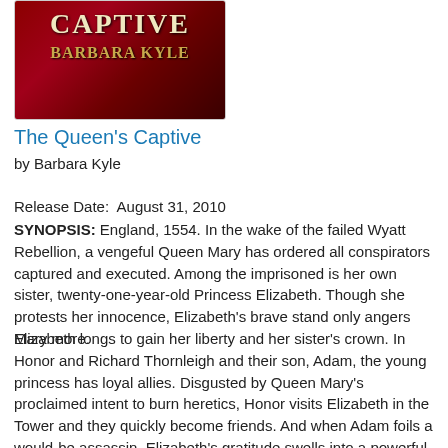[Figure (illustration): Book cover for 'The Queen's Captive' by Barbara Kyle. Dark red/crimson background with the title 'CAPTIVE' in cream letters and 'BARBARA KYLE' in gold letters.]
The Queen's Captive
by Barbara Kyle
Release Date:  August 31, 2010
SYNOPSIS: England, 1554. In the wake of the failed Wyatt Rebellion, a vengeful Queen Mary has ordered all conspirators captured and executed. Among the imprisoned is her own sister, twenty-one-year-old Princess Elizabeth. Though she protests her innocence, Elizabeth's brave stand only angers Mary more.
Elizabeth longs to gain her liberty and her sister's crown. In Honor and Richard Thornleigh and their son, Adam, the young princess has loyal allies. Disgusted by Queen Mary's proclaimed intent to burn heretics, Honor visits Elizabeth in the Tower and they quickly become friends. And when Adam foils a would-be assassin, Elizabeth's gratitude swells into a powerful and mutual attraction. But while Honor is willing to risk her own safety for her future queen, aiding in a new